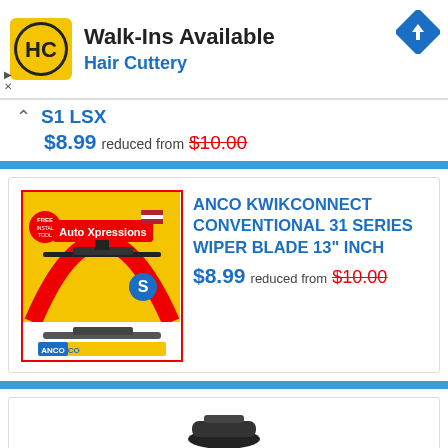[Figure (logo): Hair Cuttery logo - HC in black circle on yellow background]
Walk-Ins Available
Hair Cuttery
[Figure (other): Blue navigation/directions diamond icon]
S1 LSX
$8.99 reduced from $10.00
[Figure (photo): ANCO KwikConnect wiper blade product package - yellow background with red arch and wiper blade image]
ANCO KWIKCONNECT CONVENTIONAL 31 SERIES WIPER BLADE 13" INCH
$8.99 reduced from $10.00